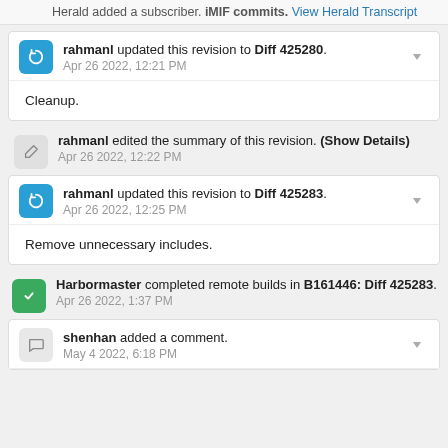Herald added a subscriber. iMIF commits. View Herald Transcript
rahmanl updated this revision to Diff 425280. Apr 26 2022, 12:21 PM
Cleanup.
rahmanl edited the summary of this revision. (Show Details) Apr 26 2022, 12:22 PM
rahmanl updated this revision to Diff 425283. Apr 26 2022, 12:25 PM
Remove unnecessary includes.
Harbormaster completed remote builds in B161446: Diff 425283. Apr 26 2022, 1:37 PM
shenhan added a comment. May 4 2022, 6:18 PM